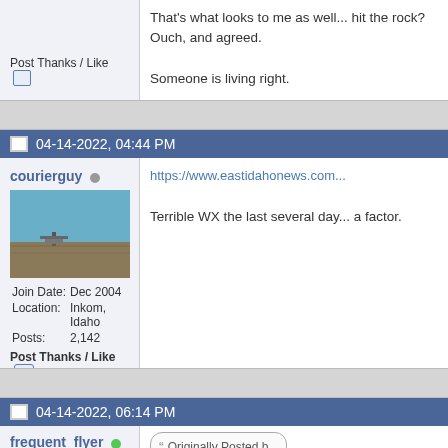Post Thanks / Like
That's what looks to me as well... hit the rock? Ouch, and agreed.

Someone is living right.

MTV
04-14-2022, 04:44 PM
courierguy
[Figure (photo): Avatar photo showing a flat landscape with blue sky and some structure in the distance]
Join Date: Dec 2004
Location: Inkom, Idaho
Posts: 2,142
Post Thanks / Like
https://www.eastidahonews.com

Terrible WX the last several day... a factor.
04-14-2022, 06:14 PM
frequent_flyer